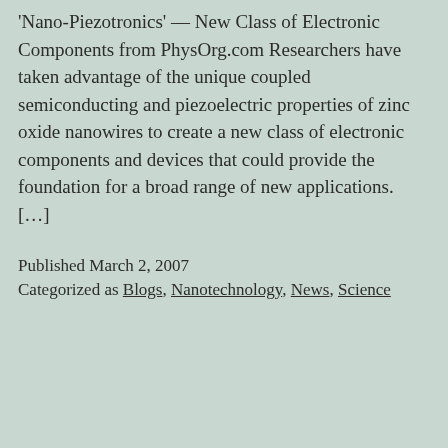'Nano-Piezotronics' — New Class of Electronic Components from PhysOrg.com Researchers have taken advantage of the unique coupled semiconducting and piezoelectric properties of zinc oxide nanowires to create a new class of electronic components and devices that could provide the foundation for a broad range of new applications. […]
Published March 2, 2007
Categorized as Blogs, Nanotechnology, News, Science